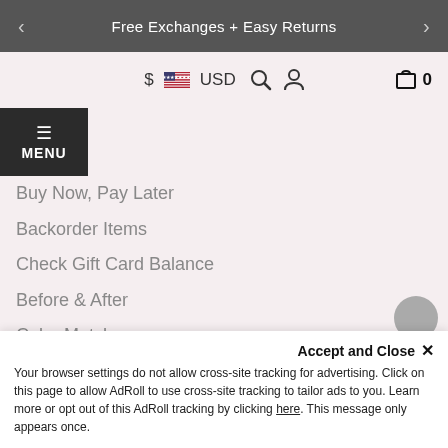Free Exchanges + Easy Returns
$ USD
Buy Now, Pay Later
Backorder Items
Check Gift Card Balance
Before & After
Color Match
How to Pick Your Hair Length
How Much Hair Do I Need?
Pick Your Hair Extensions Type
Help
Returns & Exchanges
Reviews
Accept and Close ✕
Your browser settings do not allow cross-site tracking for advertising. Click on this page to allow AdRoll to use cross-site tracking to tailor ads to you. Learn more or opt out of this AdRoll tracking by clicking here. This message only appears once.